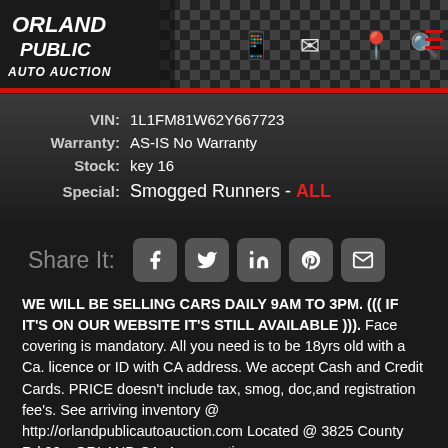ORLAND PUBLIC AUTO AUCTION
VIN: 1L1FM81W62Y667723
Warranty: AS-IS No Warranty
Stock: key 16
Special: Smogged Runners - ALL
[Figure (screenshot): Social share buttons for Facebook, Twitter, LinkedIn, Pinterest, and Email]
WE WILL BE SELLING CARS DAILY 9AM TO 3PM. ((( IF IT'S ON OUR WEBSITE IT'S STILL AVAILABLE ))). Face covering is mandatory. All you need is to be 18yrs old with a Ca. licence or ID with CA address. We accept Cash and Credit Cards. PRICE doesn't include tax, smog, doc,and registration fee's. See arriving inventory @ http://orlandpublicautoauction.com Located @ 3825 County Rd 99w ORLAND CA. Any questions